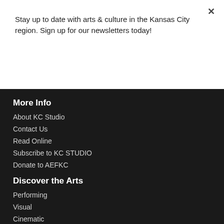Stay up to date with arts & culture in the Kansas City region. Sign up for our newsletters today!
Subscribe
More Info
About KC Studio
Contact Us
Read Online
Subscribe to KC STUDIO
Donate to AEFKC
Discover the Arts
Performing
Visual
Cinematic